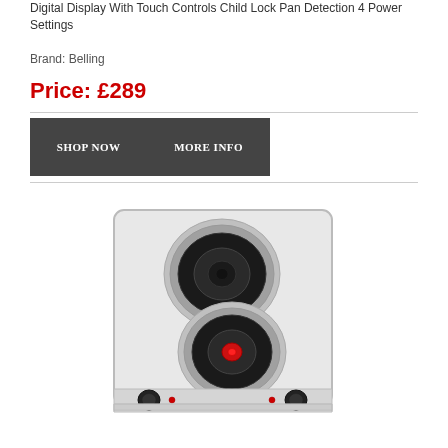Digital Display With Touch Controls Child Lock Pan Detection 4 Power Settings
Brand: Belling
Price: £289
SHOP NOW   MORE INFO
[Figure (photo): Photo of a stainless steel two-burner electric hob cooktop with two solid plate burners, four control knobs at the front, and indicator lights. The top burner is larger and dark, the bottom burner has a red indicator dot in the centre.]